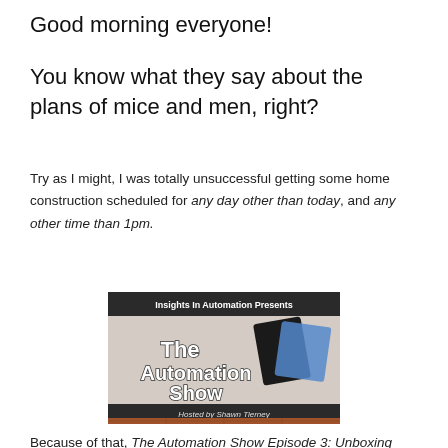Good morning everyone!
You know what they say about the plans of mice and men, right?
Try as I might, I was totally unsuccessful getting some home construction scheduled for any day other than today, and any other time than 1pm.
[Figure (photo): The Automation Show logo image. Text reads 'Insights In Automation Presents The Automation Show Hosted by Shawn Tierney'. Features images of automation devices on a dotted background with brick border.]
Because of that, The Automation Show Episode 3: Unboxing and setup of the Realtime Automation's 1761 NET ENI